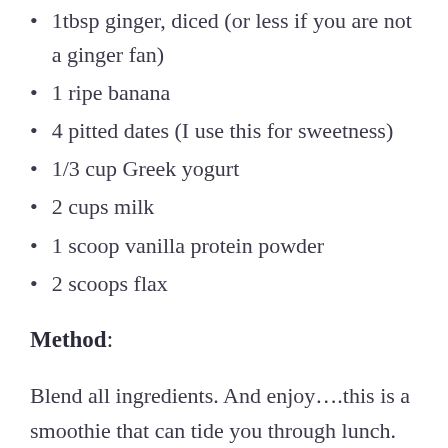1tbsp ginger, diced (or less if you are not a ginger fan)
1 ripe banana
4 pitted dates (I use this for sweetness)
1/3 cup Greek yogurt
2 cups milk
1 scoop vanilla protein powder
2 scoops flax
Method:
Blend all ingredients. And enjoy….this is a smoothie that can tide you through lunch.